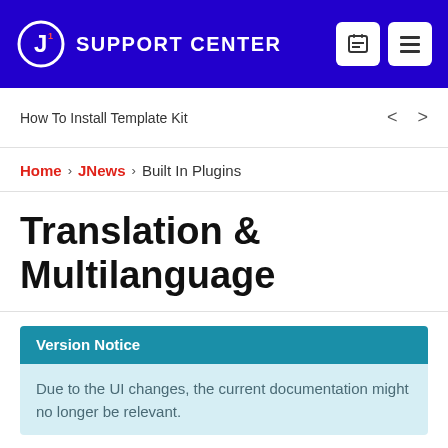SUPPORT CENTER
How To Install Template Kit
Home › JNews › Built In Plugins
Translation & Multilanguage
Version Notice
Due to the UI changes, the current documentation might no longer be relevant.